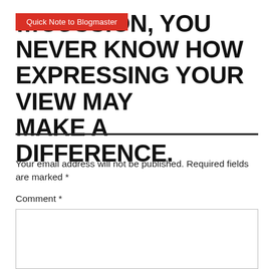Quick Note to Blogmaster
…CUSSION, YOU NEVER KNOW HOW EXPRESSING YOUR VIEW MAY MAKE A DIFFERENCE.
Your email address will not be published. Required fields are marked *
Comment *